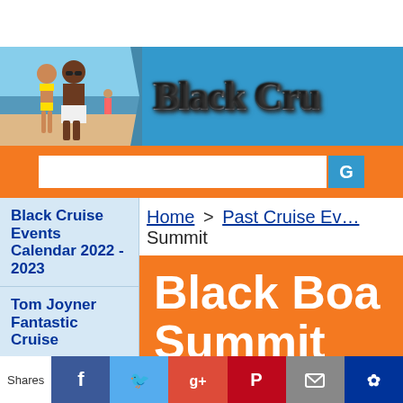[Figure (photo): Website banner for 'Black Cruise' (partially visible) showing a beach couple photo on the left and the site name in silver/chrome text on a blue background]
[Figure (screenshot): Orange search bar strip with a white search input box and blue search button]
Black Cruise Events Calendar 2022 - 2023
Home > Past Cruise Events Summit
Tom Joyner Fantastic Cruise
The Soul
Black Boa… Summit
[Figure (screenshot): Social sharing bar with Shares label, Facebook (blue), Twitter (light blue), Google+ (red/orange), Pinterest (red), Email (gray), and another icon (dark blue)]